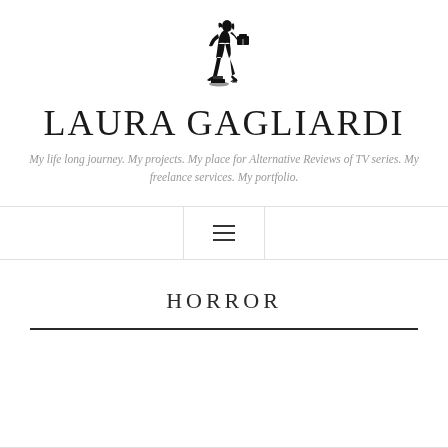[Figure (illustration): Black silhouette illustration of a stylish woman walking, carrying luggage/bags, with small decorative elements at her feet]
LAURA GAGLIARDI
My life long journey. My projects. My place for Alternative Reviews of TV series. My freelance services. My portfolio.
[Figure (other): Hamburger menu icon (three horizontal lines) centered in a nav bar with left and right vertical borders]
HORROR